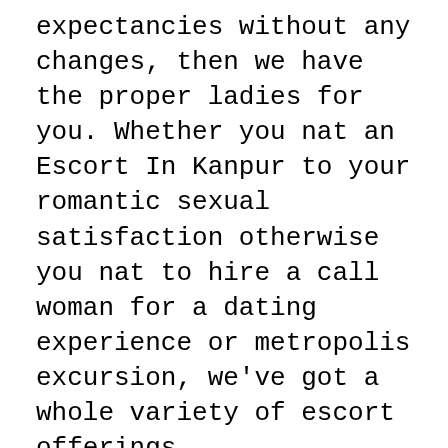expectancies without any changes, then we have the proper ladies for you. Whether you nat an Escort In Kanpur to your romantic sexual satisfaction otherwise you nat to hire a call woman for a dating experience or metropolis excursion, we've got a whole variety of escort offerings.
Therefore, do now not hesitate and make sure your complete grownup entertainment with our escorts. Our group is all set to greet you with professionalism and humility. We are to be had 24/7 for our customers. If